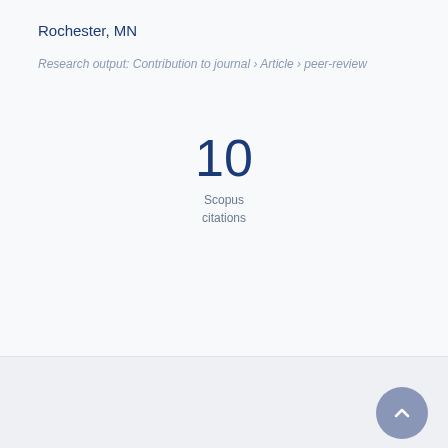Rochester, MN
Research output: Contribution to journal › Article › peer-review
10
Scopus
citations
Overview   Fingerprint